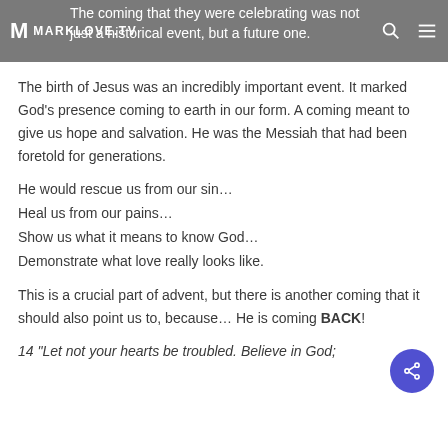MARKLOVE.TV | The coming that they were celebrating was not just a historical event, but a future one.
The birth of Jesus was an incredibly important event. It marked God's presence coming to earth in our form. A coming meant to give us hope and salvation. He was the Messiah that had been foretold for generations.
He would rescue us from our sin…
Heal us from our pains…
Show us what it means to know God…
Demonstrate what love really looks like.
This is a crucial part of advent, but there is another coming that it should also point us to, because… He is coming BACK!
14 "Let not your hearts be troubled. Believe in God;